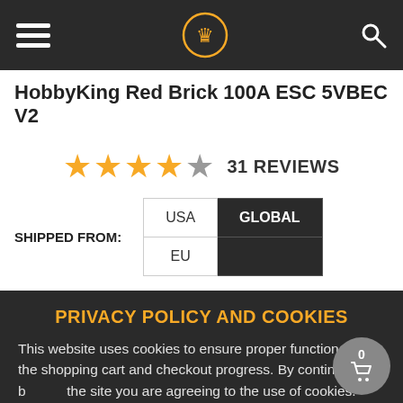HobbyKing navigation bar with hamburger menu, crown logo, and search icon
HobbyKing Red Brick 100A ESC 5VBEC V2
[Figure (other): Star rating: 4.5 out of 5 stars, 31 REVIEWS]
SHIPPED FROM: USA | GLOBAL | EU
PRIVACY POLICY AND COOKIES
This website uses cookies to ensure proper functionality of the shopping cart and checkout progress. By continuing to browse the site you are agreeing to the use of cookies. Click here to learn about cookie policy.
ACCEPT AND CLOSE ✕